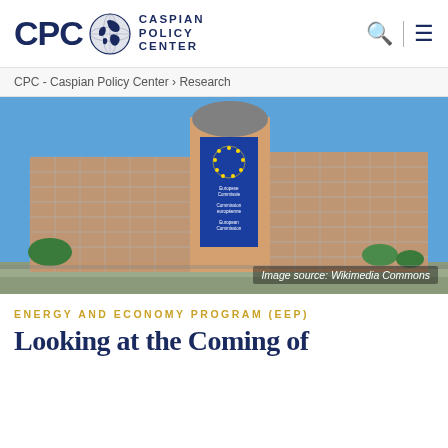[Figure (logo): CPC - Caspian Policy Center logo with globe icon and text]
CPC - Caspian Policy Center > Research
[Figure (photo): Photo of the European Commission Berlaymont building in Brussels with blue EU banner reading 'European Commission' in multiple languages. Image source: Wikimedia Commons]
ENERGY AND ECONOMY PROGRAM (EEP)
Looking at the Coming of...